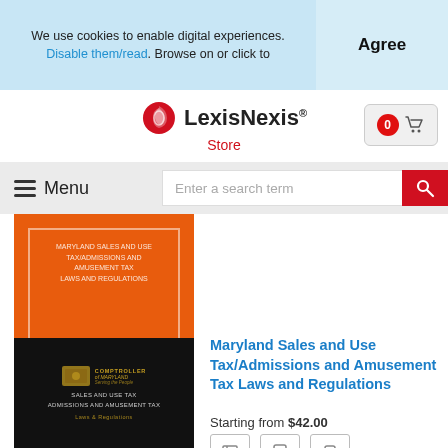We use cookies to enable digital experiences. Disable them/read. Browse on or click to
Agree
[Figure (logo): LexisNexis Store logo with red swirl emblem]
Menu
Enter a search term
[Figure (photo): Orange book cover with LexisNexis branding]
Maryland Sales and Use Tax/Admissions and Amusement Tax Laws and Regulations
Starting from $42.00
[Figure (photo): Dark book cover: Comptroller of Maryland Sales and Use Tax Admissions and Amusement Tax Laws and Regulations]